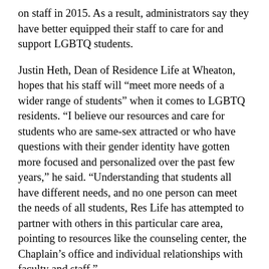on staff in 2015. As a result, administrators say they have better equipped their staff to care for and support LGBTQ students.
Justin Heth, Dean of Residence Life at Wheaton, hopes that his staff will “meet more needs of a wider range of students” when it comes to LGBTQ residents. “I believe our resources and care for students who are same-sex attracted or who have questions with their gender identity have gotten more focused and personalized over the past few years,” he said. “Understanding that students all have different needs, and no one person can meet the needs of all students, Res Life has attempted to partner with others in this particular care area, pointing to resources like the counseling center, the Chaplain’s office and individual relationships with faculty and staff.”
Chaplain Tim Blackmon told the Record in an email exchange that he understands the agitation surrounding the